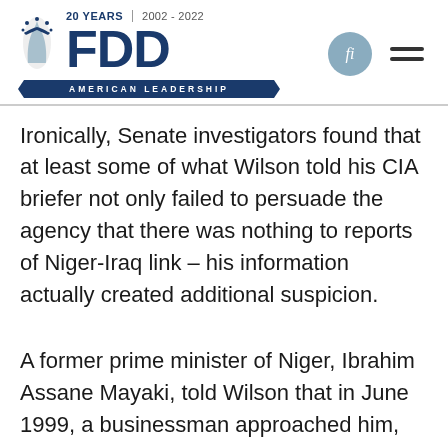[Figure (logo): FDD (Foundation for Defense of Democracies) logo with '20 YEARS | 2002-2022' text, eagle emblem, large FDD letters in navy blue, and 'AMERICAN LEADERSHIP' banner below]
Ironically, Senate investigators found that at least some of what Wilson told his CIA briefer not only failed to persuade the agency that there was nothing to reports of Niger-Iraq link – his information actually created additional suspicion.
A former prime minister of Niger, Ibrahim Assane Mayaki, told Wilson that in June 1999, a businessman approached him, insisting that he meet with an Iraqi delegation to discuss